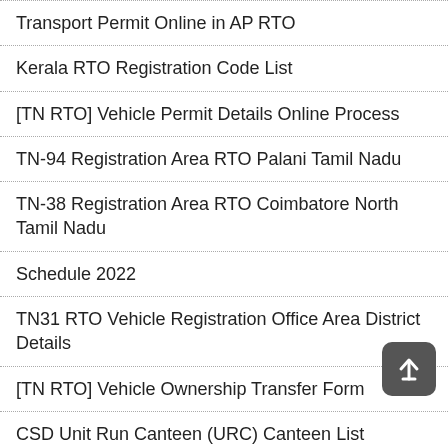Transport Permit Online in AP RTO
Kerala RTO Registration Code List
[TN RTO] Vehicle Permit Details Online Process
TN-94 Registration Area RTO Palani Tamil Nadu
TN-38 Registration Area RTO Coimbatore North Tamil Nadu
Schedule 2022
TN31 RTO Vehicle Registration Office Area District Details
[TN RTO] Vehicle Ownership Transfer Form
CSD Unit Run Canteen (URC) Canteen List
[TN RTO] Vehicle Fitness Certificate PDF Download